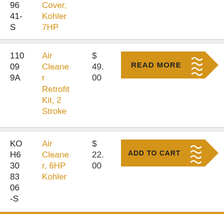| Part Number | Description | Price | Action |
| --- | --- | --- | --- |
| 96 41-S | Cover, Kohler 7HP |  |  |
| 110 09 9A | Air Cleaner Retrofit Kit, 2 Stroke | $ 49.00 | READ MORE |
| KO H6 30 83 06 -S | Air Cleaner, 6HP Kohler | $ 22.00 | ADD TO CART |